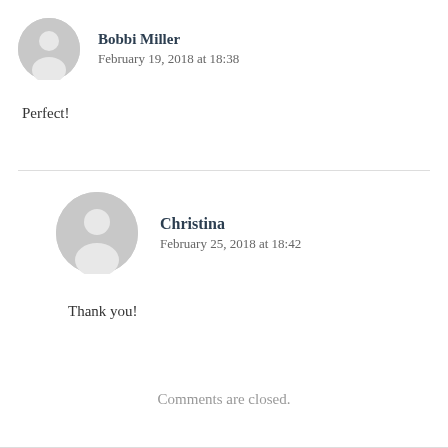Bobbi Miller
February 19, 2018 at 18:38
Perfect!
Christina
February 25, 2018 at 18:42
Thank you!
Comments are closed.